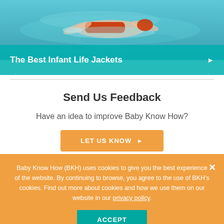[Figure (photo): Person swimming in a pool wearing a red life jacket, viewed from above, with turquoise blue water]
The Best Infant Life Jackets
Send Us Feedback
Have an idea to improve Baby Know How?
LET US KNOW ▶
Baby Know How (BKH) uses cookies to give you the best experience of the website. By continuing to browse, you agree to the use of BKH's cookies. Find out more about cookies and how we use them on our website in our privacy policy.
ACCEPT